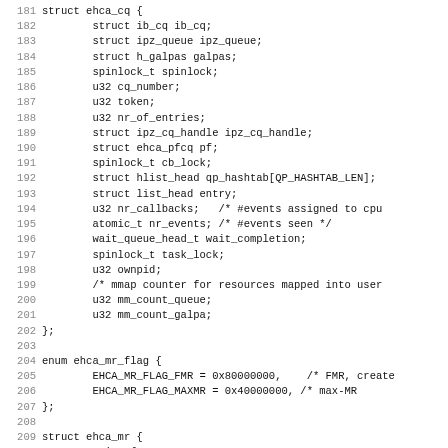[Figure (screenshot): Source code listing in C showing struct ehca_cq definition (lines 181-202), enum ehca_mr_flag definition (lines 204-207), and beginning of struct ehca_mr definition (lines 209-212). Monospace font on white background with gray line numbers.]